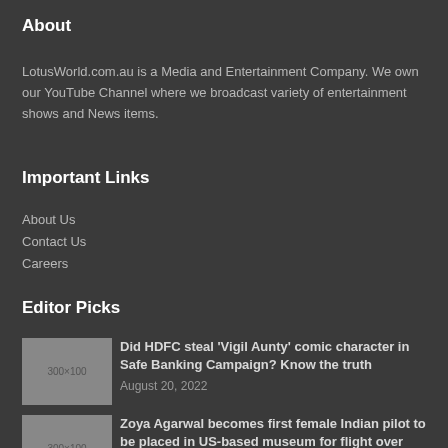About
LotusWorld.com.au is a Media and Entertainment Company. We own our YouTube Channel where we broadcast variety of entertainment shows and News items.
Important Links
About Us
Contact Us
Careers
Editor Picks
[Figure (photo): Placeholder image 300x100]
Did HDFC steal ‘Vigil Aunty’ comic character in Safe Banking Campaign? Know the truth
August 20, 2022
[Figure (photo): Placeholder image 300x100]
Zoya Agarwal becomes first female Indian pilot to be placed in US-based museum for flight over North Pole